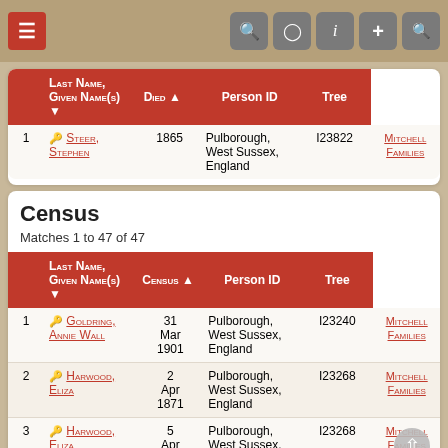Navigation bar with menu and icons
|  | Last Name, Given Name(s) | Died |  | Person ID | Tree |
| --- | --- | --- | --- | --- | --- |
| 1 | Steer, Stephen | 1865 | Pulborough, West Sussex, England | I23822 | Mitchell Families |
Census
Matches 1 to 47 of 47
|  | Last Name, Given Name(s) | Census |  | Person ID | Tree |
| --- | --- | --- | --- | --- | --- |
| 1 | Goldring, Annie Wall | 31 Mar 1901 | Pulborough, West Sussex, England | I23240 | Mitchell Families |
| 2 | Harwood, Eliza | 2 Apr 1871 | Pulborough, West Sussex, England | I23268 | Mitchell Families |
| 3 | Harwood, Eliza | 5 Apr 1891 | Pulborough, West Sussex, England | I23268 | Mitchell Families |